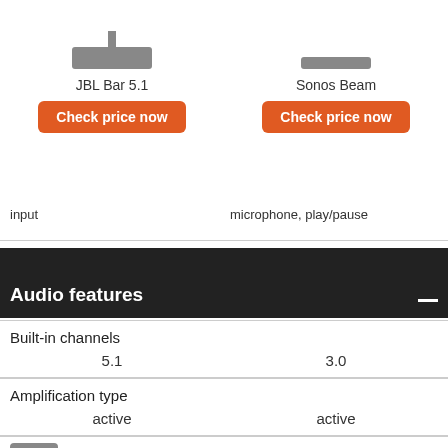[Figure (photo): JBL Bar 5.1 soundbar product image (top view with stand)]
JBL Bar 5.1
Check price now
input
[Figure (photo): Sonos Beam soundbar product image (slim bar)]
Sonos Beam
Check price now
microphone, play/pause
Audio features
Built-in channels
5.1
3.0
Amplification type
active
active
Output power, W